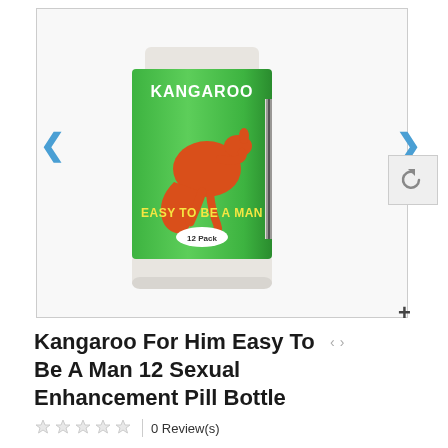[Figure (photo): Product image of Kangaroo For Him Easy To Be A Man 12 Pack pill bottle with green label featuring a red kangaroo silhouette, with navigation arrows on left and right, undo button and plus button on right side]
Kangaroo For Him Easy To Be A Man 12 Sexual Enhancement Pill Bottle
0 Review(s)